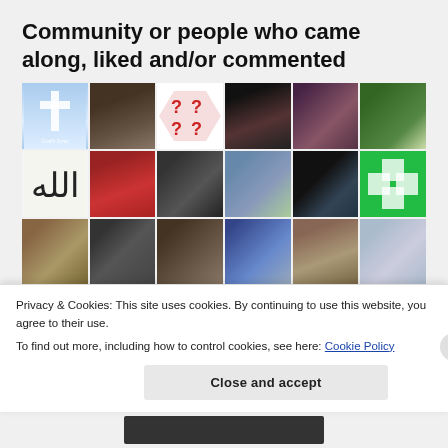Community or people who came along, liked and/or commented
[Figure (photo): Grid of 24 profile photos/avatars of community members]
Privacy & Cookies: This site uses cookies. By continuing to use this website, you agree to their use.
To find out more, including how to control cookies, see here: Cookie Policy
Close and accept